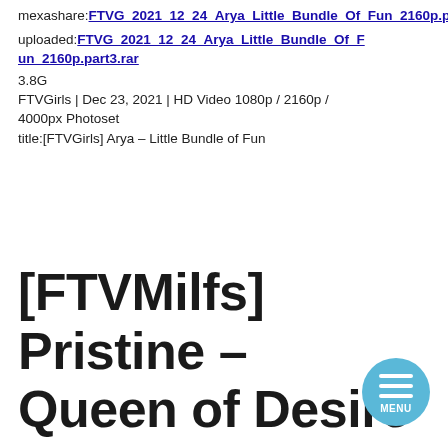mexashare:FTVG_2021_12_24_Arya_Little_Bundle_Of_Fun_2160p.part3.rar
uploaded:FTVG_2021_12_24_Arya_Little_Bundle_Of_Fun_2160p.part3.rar
3.8G
FTVGirls | Dec 23, 2021 | HD Video 1080p / 2160p / 4000px Photoset
title:[FTVGirls] Arya – Little Bundle of Fun
[FTVMilfs] Pristine – Queen of Desire